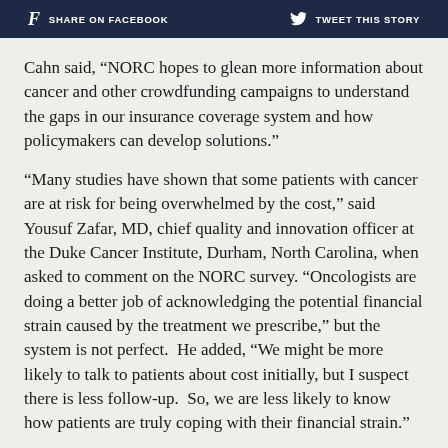f SHARE ON FACEBOOK   [twitter] TWEET THIS STORY
Cahn said, “NORC hopes to glean more information about cancer and other crowdfunding campaigns to understand the gaps in our insurance coverage system and how policymakers can develop solutions.”
“Many studies have shown that some patients with cancer are at risk for being overwhelmed by the cost,” said Yousuf Zafar, MD, chief quality and innovation officer at the Duke Cancer Institute, Durham, North Carolina, when asked to comment on the NORC survey. “Oncologists are doing a better job of acknowledging the potential financial strain caused by the treatment we prescribe,” but the system is not perfect. He added, “We might be more likely to talk to patients about cost initially, but I suspect there is less follow-up. So, we are less likely to know how patients are truly coping with their financial strain.”